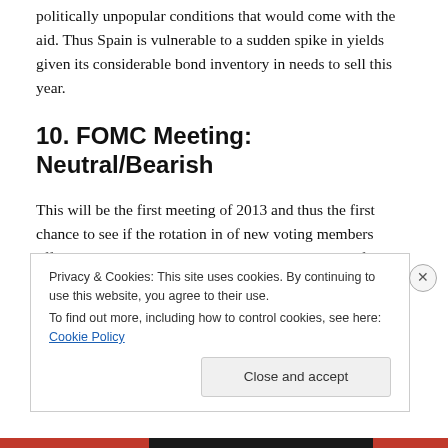politically unpopular conditions that would come with the aid. Thus Spain is vulnerable to a sudden spike in yields given its considerable bond inventory in needs to sell this year.
10. FOMC Meeting: Neutral/Bearish
This will be the first meeting of 2013 and thus the first chance to see if the rotation in of new voting members effects Fed policy. We don't anticipate any major shifts, because the new composition of the FOMC is about as
Privacy & Cookies: This site uses cookies. By continuing to use this website, you agree to their use.
To find out more, including how to control cookies, see here: Cookie Policy